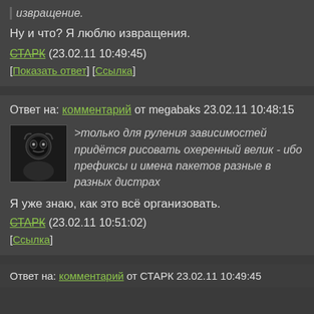извращение.
Ну и что? Я люблю извращения.
СТАРК (23.02.11 10:49:45)
[Показать ответ] [Ссылка]
Ответ на: комментарий от megabaks 23.02.11 10:48:15
>только для руления зависимостей придётся рисовать охеренный велик - ибо префиксы и имена пакетов разные в разных дистрах
Я уже знаю, как это всё организовать.
СТАРК (23.02.11 10:51:02)
[Ссылка]
Ответ на: комментарий от СТАРК 23.02.11 10:49:45